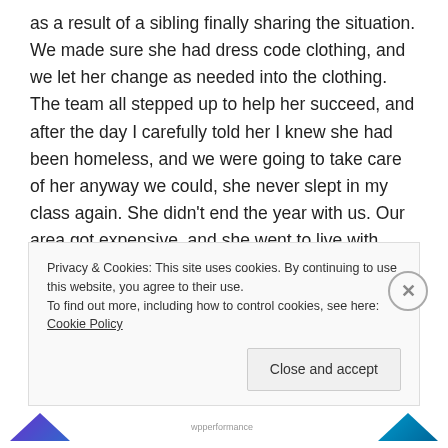as a result of a sibling finally sharing the situation. We made sure she had dress code clothing, and we let her change as needed into the clothing. The team all stepped up to help her succeed, and after the day I carefully told her I knew she had been homeless, and we were going to take care of her anyway we could, she never slept in my class again. She didn't end the year with us. Our area got expensive, and she went to live with family in another state. I say prayers for her all the time, and I hope she finds a real home and sense of home wherever she is now.
Privacy & Cookies: This site uses cookies. By continuing to use this website, you agree to their use. To find out more, including how to control cookies, see here: Cookie Policy